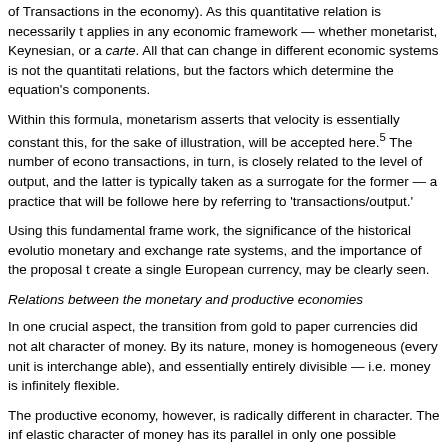of Transactions in the economy). As this quantitative relation is necessarily t applies in any economic framework — whether monetarist, Keynesian, or a carte. All that can change in different economic systems is not the quantitati relations, but the factors which determine the equation's components.
Within this formula, monetarism asserts that velocity is essentially constant this, for the sake of illustration, will be accepted here.5 The number of econ transactions, in turn, is closely related to the level of output, and the latter is typically taken as a surrogate for the former — a practice that will be followe here by referring to 'transactions/output.'
Using this fundamental frame work, the significance of the historical evolutio monetary and exchange rate systems, and the importance of the proposal t create a single European currency, may be clearly seen.
Relations between the monetary and productive economies
In one crucial aspect, the transition from gold to paper currencies did not alt character of money. By its nature, money is homogeneous (every unit is interchange able), and essentially entirely divisible — i.e. money is infinitely flexible.
The productive economy, however, is radically different in character. The inf elastic character of money has its parallel in only one possible structure of a productive economy — that known to economics textbooks as 'perfect